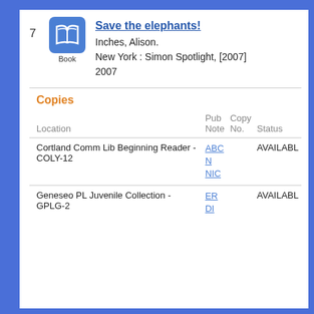7
[Figure (illustration): Blue rounded-square book icon with open book symbol inside, labeled 'Book' below]
Save the elephants!
Inches, Alison.
New York : Simon Spotlight, [2007]
2007
Copies
| Location | Pub Note | Copy No. | Status |
| --- | --- | --- | --- |
| Cortland Comm Lib Beginning Reader - COLY-12 | ABC N NIC |  | AVAILABLE |
| Geneseo PL Juvenile Collection - GPLG-2 | ER DI |  | AVAILABLE |